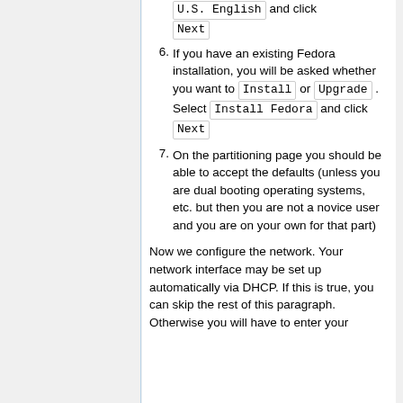If you have an existing Fedora installation, you will be asked whether you want to Install or Upgrade . Select Install Fedora and click Next
On the partitioning page you should be able to accept the defaults (unless you are dual booting operating systems, etc. but then you are not a novice user and you are on your own for that part)
Now we configure the network. Your network interface may be set up automatically via DHCP. If this is true, you can skip the rest of this paragraph. Otherwise you will have to enter your